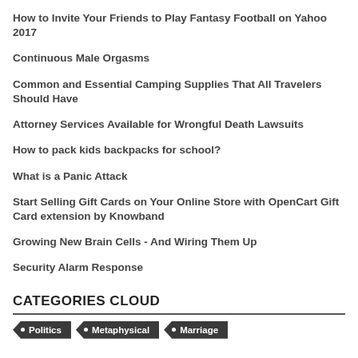How to Invite Your Friends to Play Fantasy Football on Yahoo 2017
Continuous Male Orgasms
Common and Essential Camping Supplies That All Travelers Should Have
Attorney Services Available for Wrongful Death Lawsuits
How to pack kids backpacks for school?
What is a Panic Attack
Start Selling Gift Cards on Your Online Store with OpenCart Gift Card extension by Knowband
Growing New Brain Cells - And Wiring Them Up
Security Alarm Response
CATEGORIES CLOUD
Politics
Metaphysical
Marriage